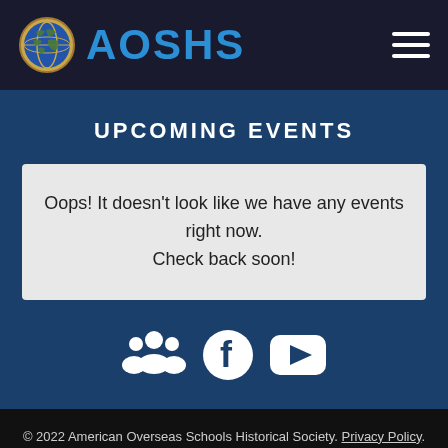AOSHS
UPCOMING EVENTS
Oops! It doesn't look like we have any events right now. Check back soon!
[Figure (infographic): Social media icons: group/users icon, Facebook icon, YouTube play button icon]
© 2022 American Overseas Schools Historical Society. Privacy Policy. Sitemap.
While AOSHS strives to make the information on this website as timely and accurate as possible, the Society makes no claims